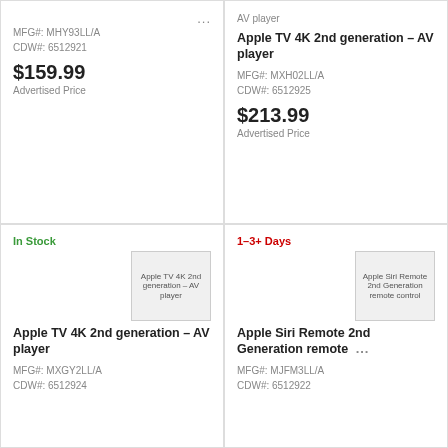MFG#: MHY93LL/A
CDW#: 6512921
$159.99
Advertised Price
AV player
Apple TV 4K 2nd generation – AV player
MFG#: MXH02LL/A
CDW#: 6512925
$213.99
Advertised Price
In Stock
[Figure (photo): Apple TV 4K 2nd generation – AV player product image]
Apple TV 4K 2nd generation – AV player
MFG#: MXGY2LL/A
CDW#: 6512924
1–3+ Days
[Figure (photo): Apple Siri Remote 2nd Generation remote control product image]
Apple Siri Remote 2nd Generation remote
MFG#: MJFM3LL/A
CDW#: 6512922